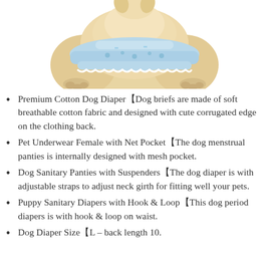[Figure (photo): A dog (appears to be a Shiba Inu or similar breed, light tan/cream colored) photographed from behind, wearing a light blue cotton diaper/brief with a patterned corrugated edge, on a white background.]
Premium Cotton Dog Diaper【Dog briefs are made of soft breathable cotton fabric and designed with cute corrugated edge on the clothing back.
Pet Underwear Female with Net Pocket【The dog menstrual panties is internally designed with mesh pocket.
Dog Sanitary Panties with Suspenders【The dog diaper is with adjustable straps to adjust neck girth for fitting well your pets.
Puppy Sanitary Diapers with Hook & Loop【This dog period diapers is with hook & loop on waist.
Dog Diaper Size【L – back length 10.